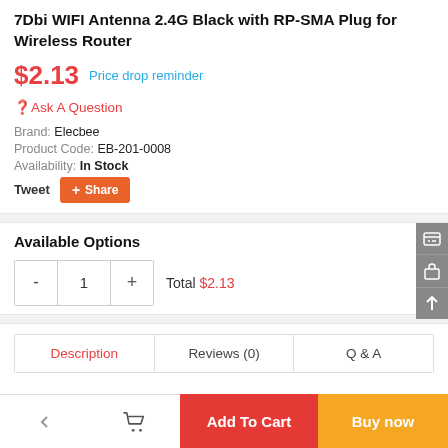7Dbi WIFI Antenna 2.4G Black with RP-SMA Plug for Wireless Router
$2.13  Price drop reminder
Ask A Question
Brand: Elecbee
Product Code: EB-201-0008
Availability: In Stock
Tweet  Share
Available Options
- 1 +  Total $2.13
Description  Reviews (0)  Q & A
Add To Cart  Buy now